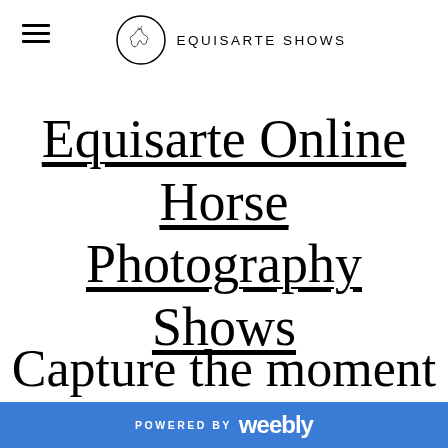EQUISARTE SHOWS
Equisarte Online Horse Photography Shows
Capture the moment
POWERED BY weebly